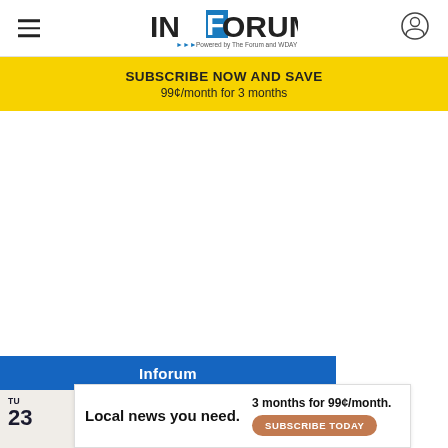InForum — Powered by The Forum and WDAY
SUBSCRIBE NOW AND SAVE
99¢/month for 3 months
[Figure (screenshot): White empty content area]
Inforum
TU
23
[Figure (infographic): Advertisement banner: Local news you need. 3 months for 99¢/month. SUBSCRIBE TODAY]